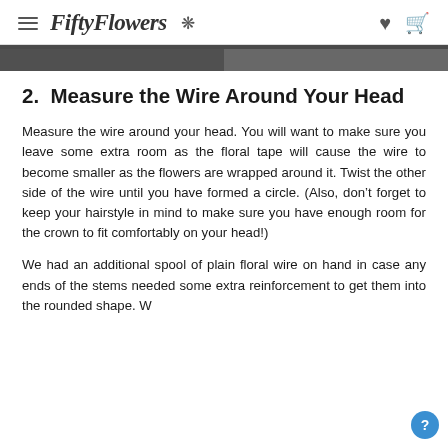FiftyFlowers
[Figure (photo): Dark-toned photograph strip showing partial view of floral crown or arrangement]
2.  Measure the Wire Around Your Head
Measure the wire around your head. You will want to make sure you leave some extra room as the floral tape will cause the wire to become smaller as the flowers are wrapped around it. Twist the other side of the wire until you have formed a circle. (Also, don’t forget to keep your hairstyle in mind to make sure you have enough room for the crown to fit comfortably on your head!)
We had an additional spool of plain floral wire on hand in case any ends of the stems needed some extra reinforcement to get them into the rounded shape. W…